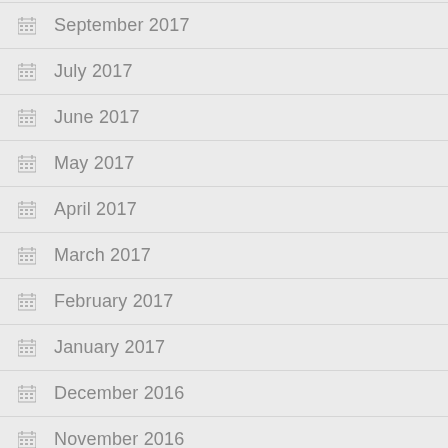September 2017
July 2017
June 2017
May 2017
April 2017
March 2017
February 2017
January 2017
December 2016
November 2016